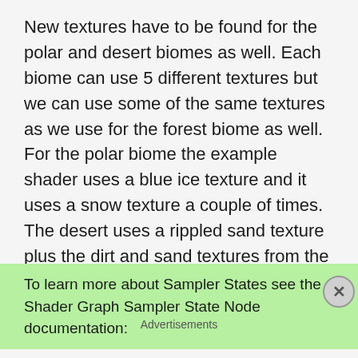New textures have to be found for the polar and desert biomes as well. Each biome can use 5 different textures but we can use some of the same textures as we use for the forest biome as well. For the polar biome the example shader uses a blue ice texture and it uses a snow texture a couple of times. The desert uses a rippled sand texture plus the dirt and sand textures from the forest biome.
To learn more about Sampler States see the Shader Graph Sampler State Node documentation:
Advertisements